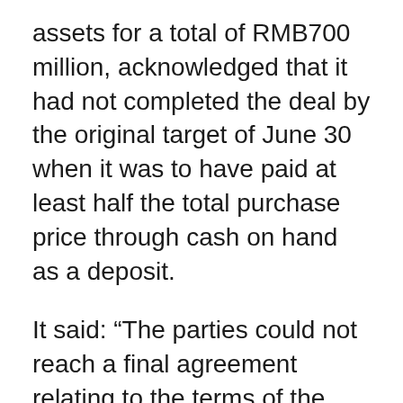assets for a total of RMB700 million, acknowledged that it had not completed the deal by the original target of June 30 when it was to have paid at least half the total purchase price through cash on hand as a deposit.
It said: “The parties could not reach a final agreement relating to the terms of the promissory note and have agreed that (Longwei) shall pay the balance of the purchase price, RMB 150 million by December 31 2011, at which time the assets will be transferred. As of June 30, 2011, Longwei had paid a RMB550 million deposit, or 78.6% of the total purchase price, using cash on hand.”